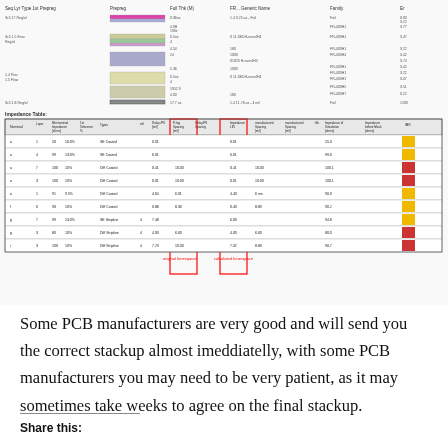[Figure (screenshot): PCB stackup diagram showing layer structure with material thicknesses and properties, followed by an Impedance Table with columns for Nominal, Layer, Trace Width, Tolerance, Type, and spacing/simulation parameters. Two columns are highlighted in red boxes labeled 'original Innerspace' and 'calculated Innerspace'. Color swatches on the right show impedance compliance status.]
Some PCB manufacturers are very good and will send you the correct stackup almost imeddiatelly, with some PCB manufacturers you may need to be very patient, as it may sometimes take weeks to agree on the final stackup.
Share this: